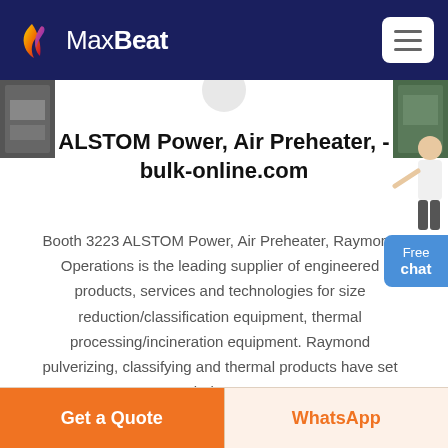MaxBeat
ALSTOM Power, Air Preheater, - bulk-online.com
Booth 3223 ALSTOM Power, Air Preheater, Raymond Operations is the leading supplier of engineered products, services and technologies for size reduction/classification equipment, thermal processing/incineration equipment. Raymond pulverizing, classifying and thermal products have set industry